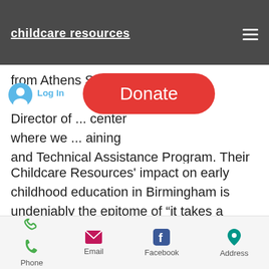childcare resources
[Figure (screenshot): Website navigation bar with childcare resources logo, hamburger menu, user icon, Log In text, and a red Donate button overlay]
from Athens State University in ... Director of ... center where we ... aining and Technical Assistance Program. Their training sessions help us ensure we provide quality care, and I love sharing the programs Childcare Resources offers with my colleagues who work in early education.
Childcare Resources' impact on early childhood education in Birmingham is undeniably the epitome of “it takes a village.” When I was attending Lawson State, I was looking for a scholarship,
Phone | Email | Facebook | Address